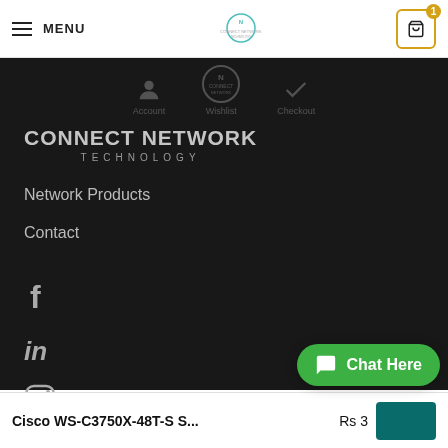MENU | Connect Network Technology Logo | Cart (1)
[Figure (screenshot): Dark footer/menu section with Connect Network Technology branding, navigation links (Network Products, Contact), social media icons (Facebook, LinkedIn, Instagram), breadcrumb icons for Account, Wishlist, Checkout]
Network Products
Contact
Cisco WS-C3750X-48T-S S...   Rs 3...   Chat Here